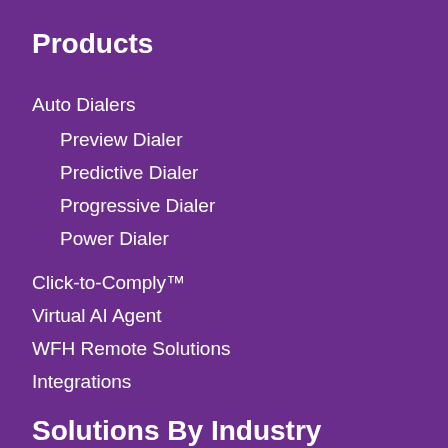Products
Auto Dialers
Preview Dialer
Predictive Dialer
Progressive Dialer
Power Dialer
Click-to-Comply™
Virtual AI Agent
WFH Remote Solutions
Integrations
Solutions By Industry
Marketing
Insurance
Solar